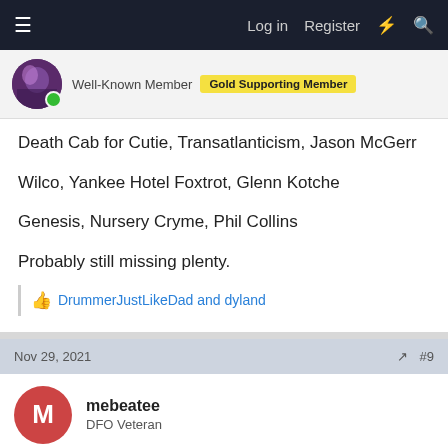Log in  Register
Well-Known Member  Gold Supporting Member
Death Cab for Cutie, Transatlanticism, Jason McGerr
Wilco, Yankee Hotel Foxtrot, Glenn Kotche
Genesis, Nursery Cryme, Phil Collins
Probably still missing plenty.
DrummerJustLikeDad and dyland
Nov 29, 2021  #9
mebeatee
DFO Veteran